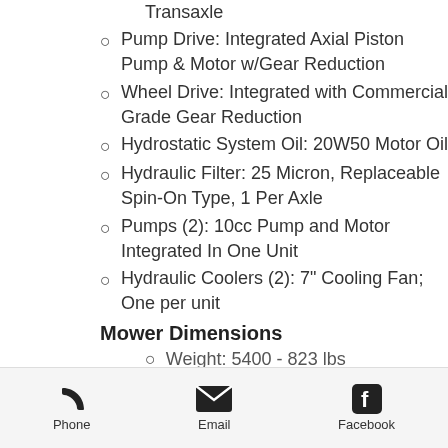Transaxle
Pump Drive: Integrated Axial Piston Pump & Motor w/Gear Reduction
Wheel Drive: Integrated with Commercial Grade Gear Reduction
Hydrostatic System Oil: 20W50 Motor Oil
Hydraulic Filter: 25 Micron, Replaceable Spin-On Type, 1 Per Axle
Pumps (2): 10cc Pump and Motor Integrated In One Unit
Hydraulic Coolers (2): 7" Cooling Fan; One per unit
Mower Dimensions
Weight: 5400 - 823 lbs
Phone | Email | Facebook